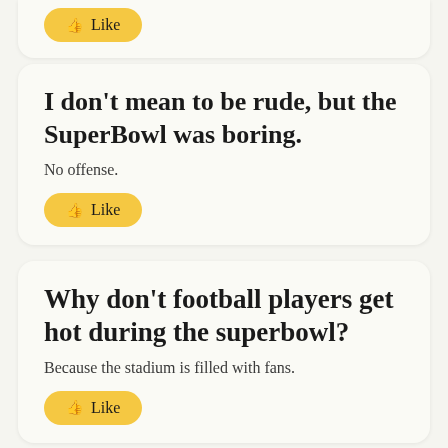[Figure (screenshot): Top of a card partially visible with a yellow Like button at the top]
I don't mean to be rude, but the SuperBowl was boring.
No offense.
[Figure (other): Yellow Like button with thumbs up icon]
Why don't football players get hot during the superbowl?
Because the stadium is filled with fans.
[Figure (other): Yellow Like button with thumbs up icon (partially visible)]